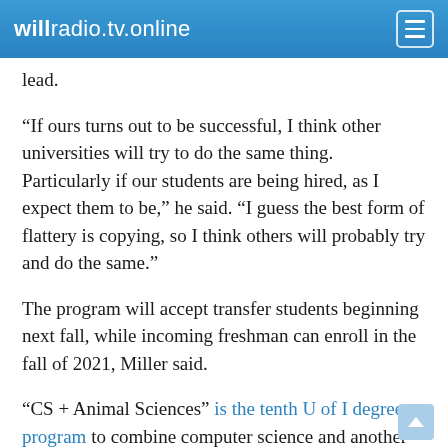willradio.tv.online
lead.
“If ours turns out to be successful, I think other universities will try to do the same thing. Particularly if our students are being hired, as I expect them to be,” he said. “I guess the best form of flattery is copying, so I think others will probably try and do the same.”
The program will accept transfer students beginning next fall, while incoming freshman can enroll in the fall of 2021, Miller said.
“CS + Animal Sciences” is the tenth U of I degree program to combine computer science and another